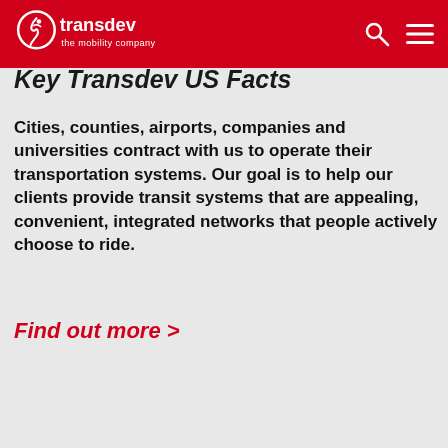transdev the mobility company
Key Transdev US Facts
Cities, counties, airports, companies and universities contract with us to operate their transportation systems. Our goal is to help our clients provide transit systems that are appealing, convenient, integrated networks that people actively choose to ride.
Find out more >